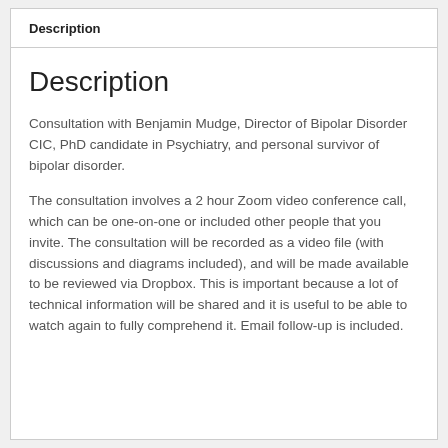Description
Description
Consultation with Benjamin Mudge, Director of Bipolar Disorder CIC, PhD candidate in Psychiatry, and personal survivor of bipolar disorder.
The consultation involves a 2 hour Zoom video conference call, which can be one-on-one or included other people that you invite. The consultation will be recorded as a video file (with discussions and diagrams included), and will be made available to be reviewed via Dropbox. This is important because a lot of technical information will be shared and it is useful to be able to watch again to fully comprehend it. Email follow-up is included.